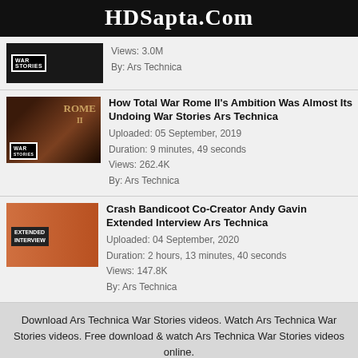HDSapta.Com
Views: 3.0M
By: Ars Technica
How Total War Rome II's Ambition Was Almost Its Undoing War Stories Ars Technica
Uploaded: 05 September, 2019
Duration: 9 minutes, 49 seconds
Views: 262.4K
By: Ars Technica
Crash Bandicoot Co-Creator Andy Gavin Extended Interview Ars Technica
Uploaded: 04 September, 2020
Duration: 2 hours, 13 minutes, 40 seconds
Views: 147.8K
By: Ars Technica
Download Ars Technica War Stories videos. Watch Ars Technica War Stories videos. Free download & watch Ars Technica War Stories videos online.
Last Search
Dakika Ya 90 Ep Ya 21
Dakika Ya 90 Ep Ya Mwisho
Dakika Ya 90 Ep Ya Mwisho
Dakika Ya 90 Ep 19